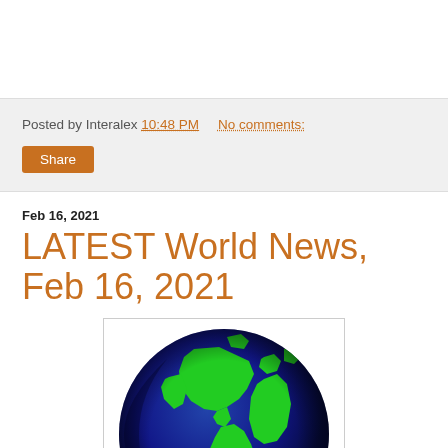Posted by Interalex 10:48 PM    No comments:
Share
Feb 16, 2021
LATEST World News, Feb 16, 2021
[Figure (illustration): Pixelated 3D globe showing Earth with green continents (North America, South America, Europe/Africa visible) on a dark navy blue ocean background, with slight shadow on left side.]